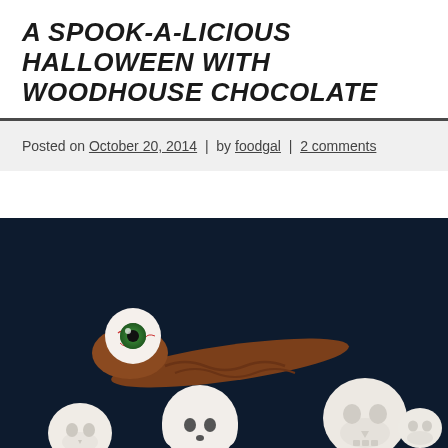A SPOOK-A-LICIOUS HALLOWEEN WITH WOODHOUSE CHOCOLATE
Posted on October 20, 2014 | by foodgal | 2 comments
[Figure (photo): Halloween chocolate candies on dark blue background: a milk chocolate spoon with a white eyeball candy on top (green iris, red veins), and white chocolate ghost and skull figures in the foreground]